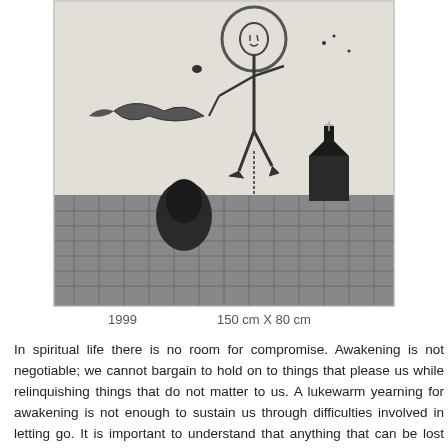[Figure (illustration): Black and white sketch/drawing artwork showing a figure with a circular halo above a dark landscape. A bird-like shape flies on the left. Below, a dark textured ground with shadowy figures and a structure on the right.]
1999    150 cm X 80 cm
In spiritual life there is no room for compromise. Awakening is not negotiable; we cannot bargain to hold on to things that please us while relinquishing things that do not matter to us. A lukewarm yearning for awakening is not enough to sustain us through difficulties involved in letting go. It is important to understand that anything that can be lost was never truly ours, anything that we deeply cling to only imprisons us.